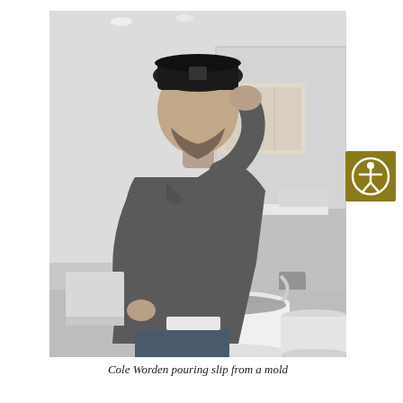[Figure (photo): Black and white photograph of a bearded man wearing a backwards cap, pouring slip from a rectangular plaster mold into a large white bucket. The setting appears to be a ceramics studio or workshop with shelves and equipment visible in the background.]
[Figure (logo): Gold/olive colored square icon with a white circle containing a white human figure with arms outstretched (accessibility icon).]
Cole Worden pouring slip from a mold